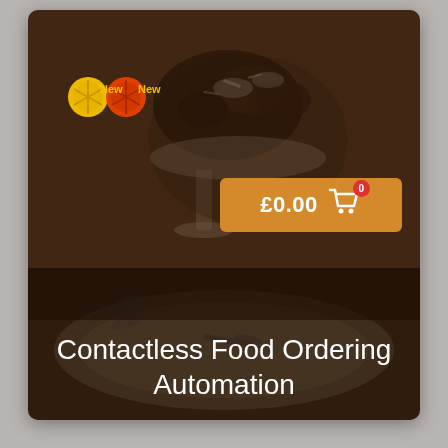[Figure (screenshot): Food ordering app screenshot showing a dessert in a glass bowl as background, with a 'New New' restaurant logo in yellow and red, an orange cart button showing £0.00 with a shopping cart icon and badge showing 0, and the text 'Contactless Food Ordering Automation' overlaid on a dark semi-transparent bottom bar.]
Contactless Food Ordering Automation